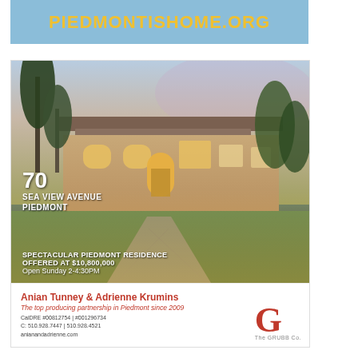PIEDMONTISHOME.ORG
[Figure (photo): Real estate advertisement for 70 Sea View Avenue, Piedmont. Shows a large luxury home at dusk with a stone walkway, manicured lawn, and illuminated windows. Property details overlay the photo.]
70
SEA VIEW AVENUE
PIEDMONT
SPECTACULAR PIEDMONT RESIDENCE
OFFERED AT $10,800,000
Open Sunday 2-4:30PM
Anian Tunney & Adrienne Krumins
The top producing partnership in Piedmont since 2009
CalDRE #00812754 | #001296734
C: 510.928.7447 | 510.928.4521
anianandadrienne.com